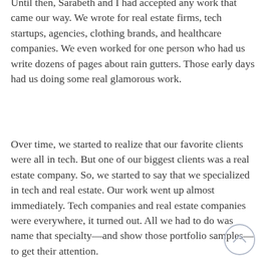Until then, Sarabeth and I had accepted any work that came our way. We wrote for real estate firms, tech startups, agencies, clothing brands, and healthcare companies. We even worked for one person who had us write dozens of pages about rain gutters. Those early days had us doing some real glamorous work.
Over time, we started to realize that our favorite clients were all in tech. But one of our biggest clients was a real estate company. So, we started to say that we specialized in tech and real estate. Our work went up almost immediately. Tech companies and real estate companies were everywhere, it turned out. All we had to do was name that specialty—and show those portfolio samples—to get their attention.